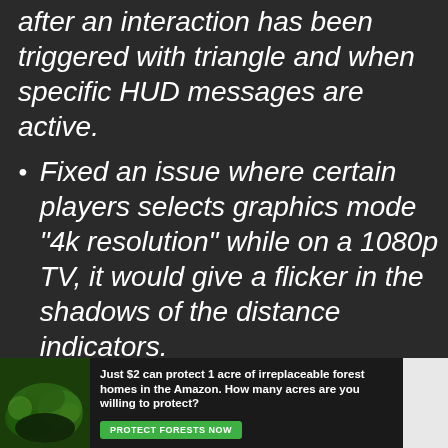after an interaction has been triggered with triangle and when specific HUD messages are active.
Fixed an issue where certain players selects graphics mode “4k resolution” while on a 1080p TV, it would give a flicker in the shadows of the distance indicators.
Fixed an issue for some players where the interior map text
[Figure (infographic): Advertisement banner: forest conservation ad with photo of Amazon forest, text reading 'Just $2 can protect 1 acre of irreplaceable forest homes in the Amazon. How many acres are you willing to protect?' with a green 'PROTECT FORESTS NOW' button.]